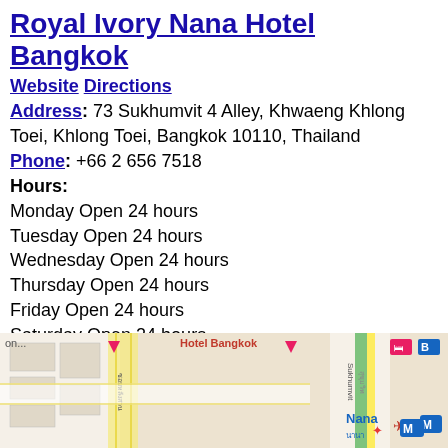Royal Ivory Nana Hotel Bangkok
Website  Directions
Address: 73 Sukhumvit 4 Alley, Khwaeng Khlong Toei, Khlong Toei, Bangkok 10110, Thailand
Phone: +66 2 656 7518
Hours:
Monday Open 24 hours
Tuesday Open 24 hours
Wednesday Open 24 hours
Thursday Open 24 hours
Friday Open 24 hours
Saturday Open 24 hours
Sunday Open 24 hours
Social link
https://www.pinterest.com/andatelpatong/royal-ivory-nana-4-hotel/
https://www.facebook.com/RoyalIvorylHotelBangkok/
https://www.youtube.com/watch?v= YNa0MvZloy4
https://g.page/sukhumvit-hotel-bangkok/
[Figure (map): Google Maps screenshot showing the area around Royal Ivory Nana Hotel Bangkok on Sukhumvit road, with map pins and Nana station marker visible.]